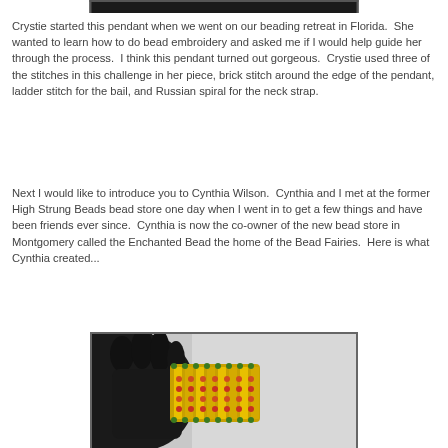[Figure (photo): Top portion of a photo, dark bar visible at the top of the page]
Crystie started this pendant when we went on our beading retreat in Florida.  She wanted to learn how to do bead embroidery and asked me if I would help guide her through the process.  I think this pendant turned out gorgeous.  Crystie used three of the stitches in this challenge in her piece, brick stitch around the edge of the pendant, ladder stitch for the bail, and Russian spiral for the neck strap.
Next I would like to introduce you to Cynthia Wilson.  Cynthia and I met at the former High Strung Beads bead store one day when I went in to get a few things and have been friends ever since.  Cynthia is now the co-owner of the new bead store in Montgomery called the Enchanted Bead the home of the Bead Fairies.  Here is what Cynthia created...
[Figure (photo): Photo of a beaded bracelet with yellow, green and orange/pink beads displayed on a black hand display stand, against a light background]